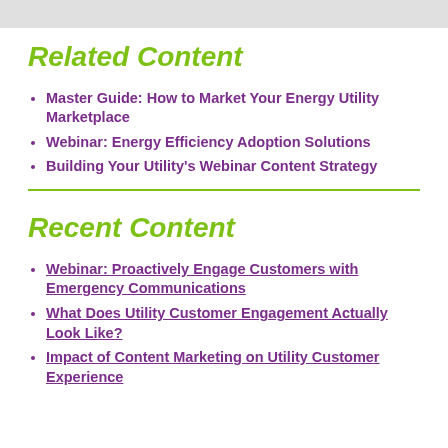Related Content
Master Guide: How to Market Your Energy Utility Marketplace
Webinar: Energy Efficiency Adoption Solutions
Building Your Utility's Webinar Content Strategy
Recent Content
Webinar: Proactively Engage Customers with Emergency Communications
What Does Utility Customer Engagement Actually Look Like?
Impact of Content Marketing on Utility Customer Experience